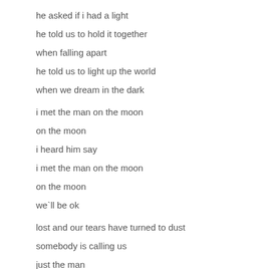he asked if i had a light
he told us to hold it together
when falling apart
he told us to light up the world
when we dream in the dark
i met the man on the moon
on the moon
i heard him say
i met the man on the moon
on the moon
we`ll be ok
lost and our tears have turned to dust
somebody is calling us
just the man
on the moon